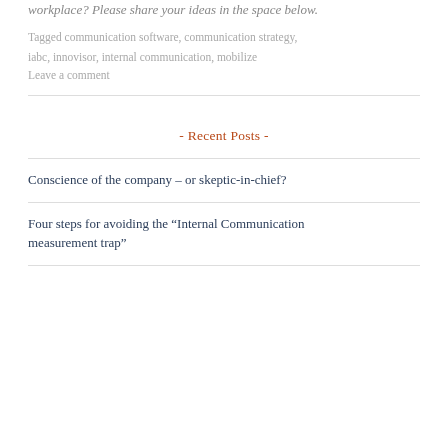workplace? Please share your ideas in the space below.
Tagged communication software, communication strategy, iabc, innovisor, internal communication, mobilize
Leave a comment
- Recent Posts -
Conscience of the company – or skeptic-in-chief?
Four steps for avoiding the “Internal Communication measurement trap”